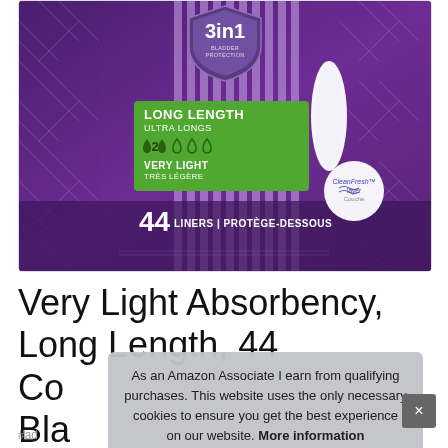[Figure (photo): Product photo of Always Discreet bladder liners package — purple packaging with 3-in-1 bladder protection shield badge, green label reading LONG LENGTH ULTRA LONGS, VERY LIGHT TRES LEGERE with droplet icons showing level 2, 44 LINERS PROTEGE-DESSOUS text, a pad image, and CleanFresh Layer Couche badge]
Very Light Absorbency, Long Length, 44 Co Bla
As an Amazon Associate I earn from qualifying purchases. This website uses the only necessary cookies to ensure you get the best experience on our website. More information
#ad